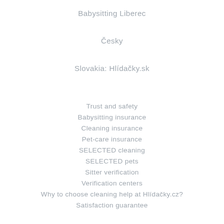Babysitting Liberec
Česky
Slovakia: Hlídačky.sk
Trust and safety
Babysitting insurance
Cleaning insurance
Pet-care insurance
SELECTED cleaning
SELECTED pets
Sitter verification
Verification centers
Why to choose cleaning help at Hlídačky.cz?
Satisfaction guarantee